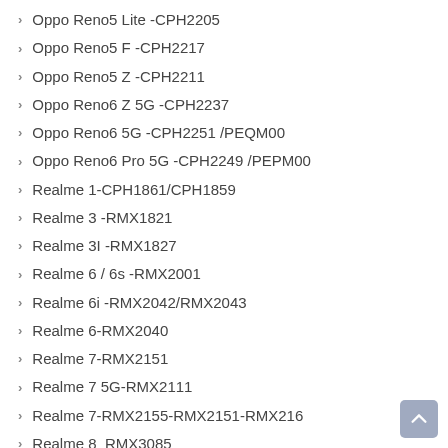Oppo Reno5 Lite  -CPH2205
Oppo Reno5 F   -CPH2217
Oppo Reno5 Z   -CPH2211
Oppo Reno6 Z 5G  -CPH2237
Oppo Reno6 5G  -CPH2251 /PEQM00
Oppo Reno6 Pro 5G -CPH2249 /PEPM00
Realme 1-CPH1861/CPH1859
Realme 3 -RMX1821
Realme 3I -RMX1827
Realme 6 / 6s -RMX2001
Realme 6i -RMX2042/RMX2043
Realme 6-RMX2040
Realme 7-RMX2151
Realme 7 5G-RMX2111
Realme 7-RMX2155-RMX2151-RMX216
Realme 8_RMX3085
Realme C11-RMX2191